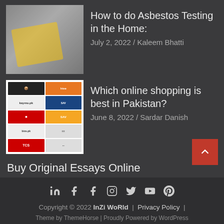How to do Asbestos Testing in the Home:
July 2, 2022 / Kaleem Bhatti
Which online shopping is best in Pakistan?
June 8, 2022 / Sardar Danish
Buy Original Essays Online
June 6, 2022 / Inzmam Ali
What Do Wearing Invisalign Aligners Feel Like?
June 3, 2022 / Sean Collins
Copyright © 2022 InZi WoRld | Privacy Policy |